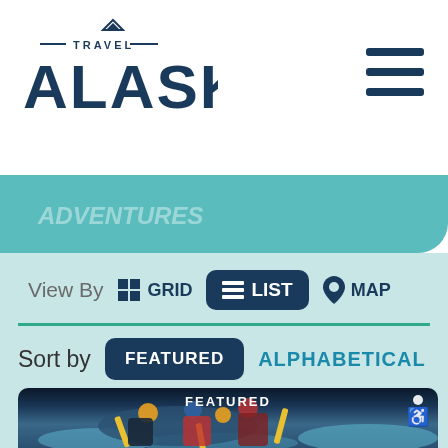[Figure (logo): Travel Alaska logo with mountain icon, horizontal lines, and bold ALASKA text in dark navy blue]
[Figure (illustration): Hamburger menu icon with three dark navy horizontal lines]
[Figure (illustration): Teal blue banner with partially visible italic text]
View By
GRID
LIST
MAP
Sort by
FEATURED
ALPHABETICAL
[Figure (photo): Photo of people white water rafting in a blue inflatable raft with yellow paddles, wearing helmets and life vests, with FEATURED label overlay and accessibility icon]